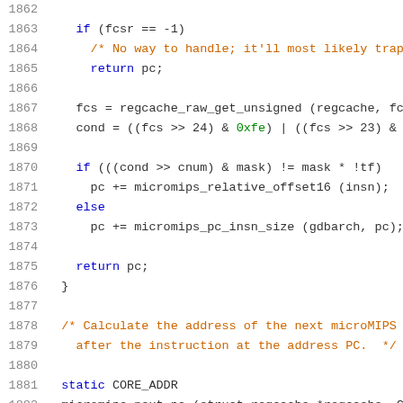[Figure (screenshot): Source code listing showing lines 1862-1883 of a C file. Code includes conditional logic with microMIPS functions, register cache operations, and a comment about calculating next microMIPS PC address. Line numbers shown in gray on the left, keywords in blue, comments in orange, hex literals in green.]